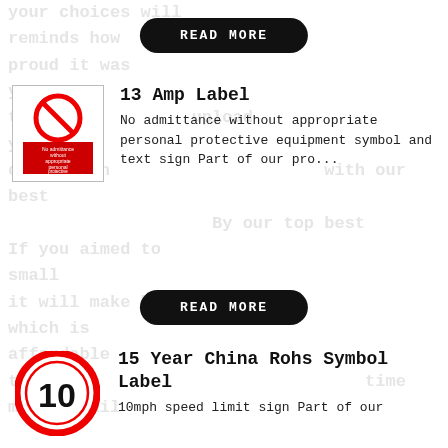[Figure (other): READ MORE button (top), black rounded rectangle with white text]
[Figure (other): Safety sign image: red circle-ban symbol over red box with text 'No admittance without appropriate personal protective equipment']
13 Amp Label
No admittance without appropriate personal protective equipment symbol and text sign Part of our pro...
[Figure (other): READ MORE button (bottom), black rounded rectangle with white text]
[Figure (other): Red circle speed limit sign showing number 10]
15 Year China Rohs Symbol Label
10mph speed limit sign Part of our